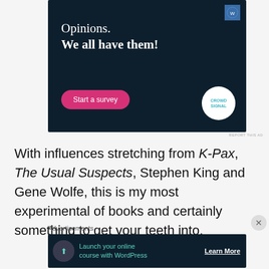[Figure (infographic): Dark navy blue advertisement banner for Crowdsignal survey tool. Text reads 'Opinions. We all have them!' with a pink 'Start a survey' button and the Crowdsignal logo in a white circle.]
REPORT THIS AD
With influences stretching from K-Pax, The Usual Suspects, Stephen King and Gene Wolfe, this is my most experimental of books and certainly something to get your teeth into.
Advertisements
[Figure (infographic): Dark navy advertisement for WordPress online course. Shows a person icon with 'Launch your online course with WordPress' text and a 'Learn More' call to action.]